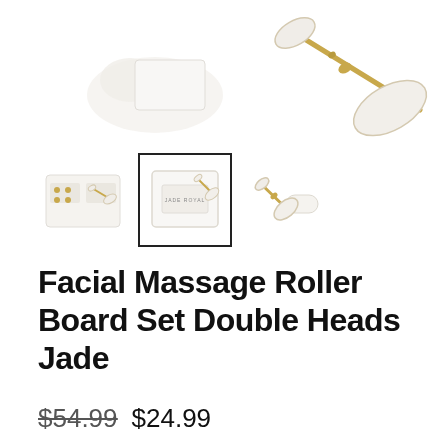[Figure (photo): Main product photo showing a white jade facial massage roller with gold hardware and a white gua sha board on a white background]
[Figure (photo): Three product thumbnail images: left shows open box with jade roller and gua sha; center (selected, with border) shows boxed product packaging; right shows jade roller with white cylindrical case]
Facial Massage Roller Board Set Double Heads Jade
$54.99  $24.99